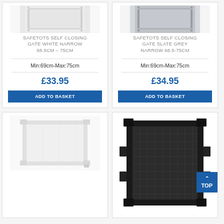[Figure (photo): Safetots self closing gate white narrow product image]
SAFETOTS SELF CLOSING GATE WHITE NARROW 68.5CM – 75CM
Min:69cm-Max:75cm
£33.95
ADD TO BASKET
[Figure (photo): Safetots self closing gate slate grey narrow product image]
SAFETOTS SELF CLOSING GATE SLATE GREY NARROW 68.5-75CM
Min:69cm-Max:75cm
£34.95
ADD TO BASKET
[Figure (photo): White retractable/folding safety gate product image]
[Figure (photo): Black mesh retractable safety gate product image with TOP navigation button overlay]